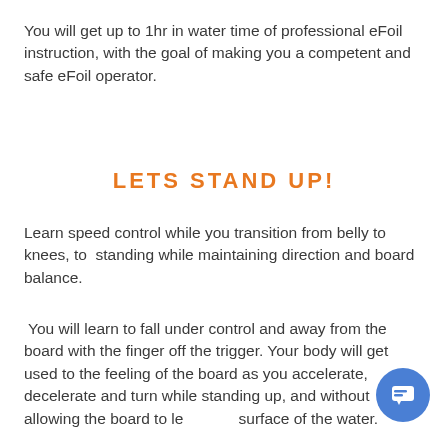You will get up to 1hr in water time of professional eFoil instruction, with the goal of making you a competent and safe eFoil operator.
LETS STAND UP!
Learn speed control while you transition from belly to knees, to  standing while maintaining direction and board balance.
You will learn to fall under control and away from the board with the finger off the trigger. Your body will get used to the feeling of the board as you accelerate, decelerate and turn while standing up, and without allowing the board to leave the surface of the water.